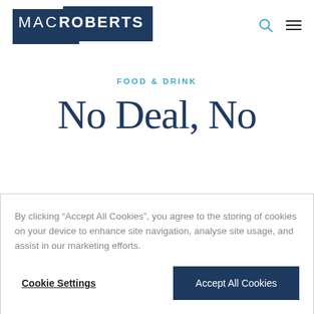[Figure (logo): MacRoberts law firm logo — white text on dark navy background]
FOOD & DRINK
No Deal, No
By clicking “Accept All Cookies”, you agree to the storing of cookies on your device to enhance site navigation, analyse site usage, and assist in our marketing efforts.
Cookie Settings
Accept All Cookies